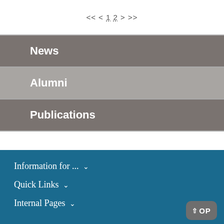<< < 1 2 > >>
News
Alumni
Publications
Information for ... ∨
Quick Links ∨
Internal Pages ∨